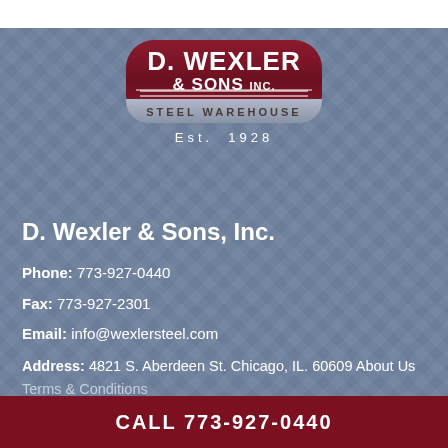[Figure (logo): D. Wexler & Sons Inc. Steel Warehouse logo — dark red rounded pill shape with white bold text, steel gray banner at bottom, Est. 1928 below]
D. Wexler & Sons, Inc.
Phone: 773-927-0440
Fax: 773-927-2301
Email: info@wexlersteel.com
Address: 4821 S. Aberdeen St. Chicago, IL. 60609 About Us
Terms & Conditions
CALL 773-927-0440